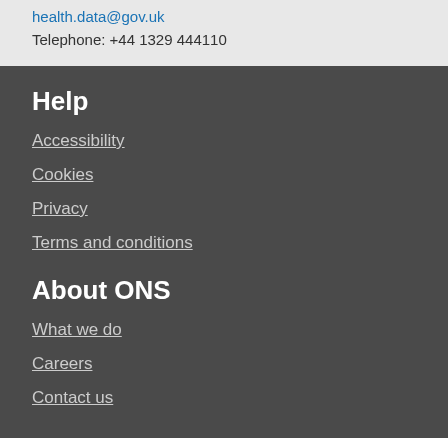health.data@gov.uk
Telephone: +44 1329 444110
Help
Accessibility
Cookies
Privacy
Terms and conditions
About ONS
What we do
Careers
Contact us